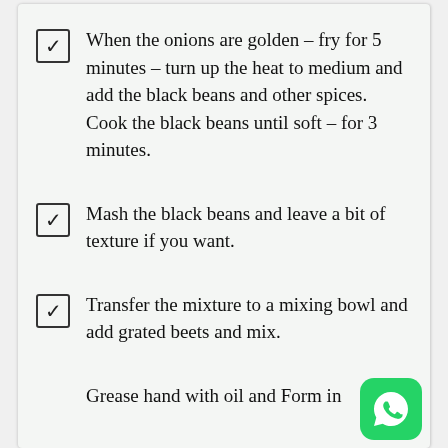When the onions are golden – fry for 5 minutes – turn up the heat to medium and add the black beans and other spices. Cook the black beans until soft – for 3 minutes.
Mash the black beans and leave a bit of texture if you want.
Transfer the mixture to a mixing bowl and add grated beets and mix.
Grease hand with oil and Form in